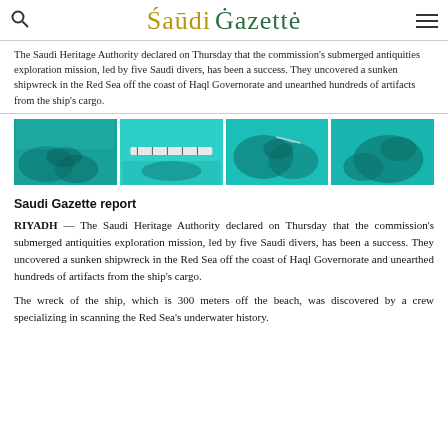Saudi Gazette
The Saudi Heritage Authority declared on Thursday that the commission's submerged antiquities exploration mission, led by five Saudi divers, has been a success. They uncovered a sunken shipwreck in the Red Sea off the coast of Haql Governorate and unearthed hundreds of artifacts from the ship's cargo.
[Figure (photo): Four underwater photographs showing a sunken shipwreck and artifacts discovered in the Red Sea off the coast of Haql Governorate, showing coral-encrusted objects and a measuring scale.]
Saudi Gazette report
RIYADH — The Saudi Heritage Authority declared on Thursday that the commission's submerged antiquities exploration mission, led by five Saudi divers, has been a success. They uncovered a sunken shipwreck in the Red Sea off the coast of Haql Governorate and unearthed hundreds of artifacts from the ship's cargo.
The wreck of the ship, which is 300 meters off the beach, was discovered by a crew specializing in scanning the Red Sea's underwater history.